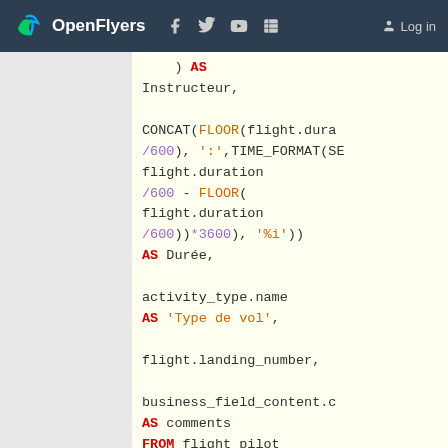OpenFlyers — Log in
SQL code snippet showing: ) AS Instructeur, CONCAT(FLOOR(flight.duration/600), ':', TIME_FORMAT(SEC... flight.duration/600 - FLOOR(flight.duration/600))*3600), '%i')) AS Durée, activity_type.name AS 'Type de vol', flight.landing_number, business_field_content.c AS comments FROM flight_pilot fp LEFT JOIN flight ON fp.flight_id=flight.id LEFT JOIN activity_type ON (activity_type.id & flight.flight_type_id)